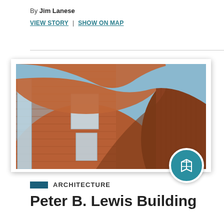By Jim Lanese
VIEW STORY | SHOW ON MAP
[Figure (photo): Close-up architectural photo of curved brick building facades with glass windows against a blue sky, likely the Peter B. Lewis Building.]
ARCHITECTURE
Peter B. Lewis Building